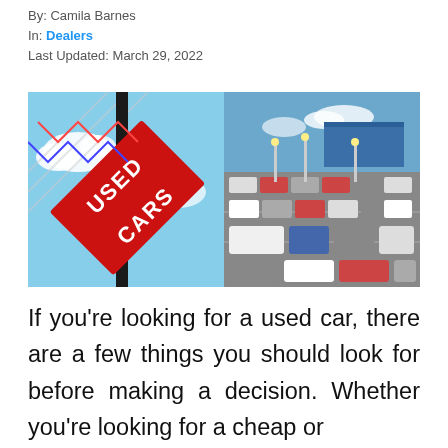By: Camila Barnes
In: Dealers
Last Updated: March 29, 2022
[Figure (photo): Two photos side by side: left shows a red 'Used Cars' sign on a pole against a blue sky; right shows an aerial view of a used car dealership lot filled with vehicles.]
If you're looking for a used car, there are a few things you should look for before making a decision. Whether you're looking for a cheap or